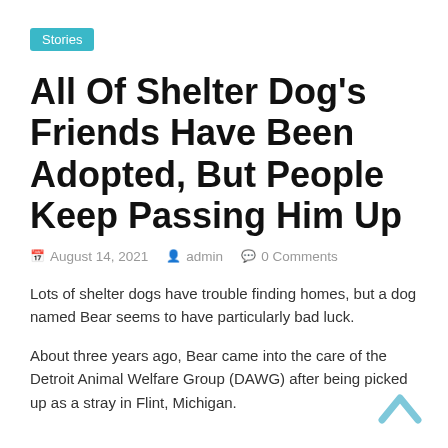Stories
All Of Shelter Dog's Friends Have Been Adopted, But People Keep Passing Him Up
August 14, 2021   admin   0 Comments
Lots of shelter dogs have trouble finding homes, but a dog named Bear seems to have particularly bad luck.
About three years ago, Bear came into the care of the Detroit Animal Welfare Group (DAWG) after being picked up as a stray in Flint, Michigan.